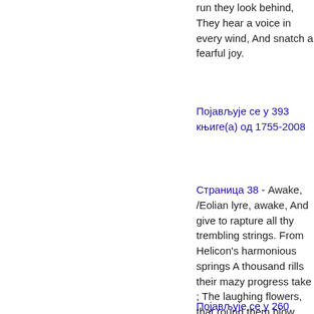run they look behind, They hear a voice in every wind, And snatch a fearful joy.
Појављује се у 393 књиге(а) од 1755-2008
Страница 38 - Awake, /Eolian lyre, awake, And give to rapture all thy trembling strings. From Helicon's harmonious springs A thousand rills their mazy progress take ; The laughing flowers, that round them blow, Drink life and fragrance as they flow. Now the rich stream of music winds along, Deep, majestic, smooth, and strong, Through verdant vales, and Ceres...
Појављује се у 260